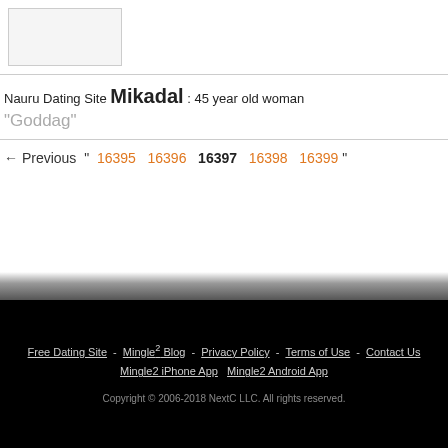[Figure (photo): Profile photo placeholder box, light gray with border]
Nauru Dating Site Mikadal : 45 year old woman
"Goddag"
← Previous " 16395  16396  16397  16398  16399 "
Free Dating Site - Mingle2 Blog - Privacy Policy - Terms of Use - Contact Us  Mingle2 iPhone App  Mingle2 Android App  Copyright © 2006-2018 NextC LLC. All rights reserved.